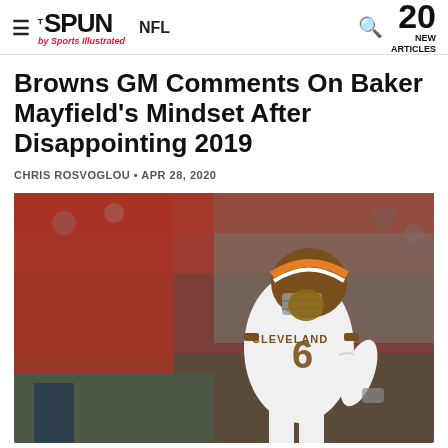THE SPUN by Sports Illustrated | NFL | 20 NEW ARTICLES
Browns GM Comments On Baker Mayfield's Mindset After Disappointing 2019
CHRIS ROSVOGLOU • APR 28, 2020
[Figure (photo): Baker Mayfield wearing Cleveland Browns jersey number 6, on field with crowd in background]